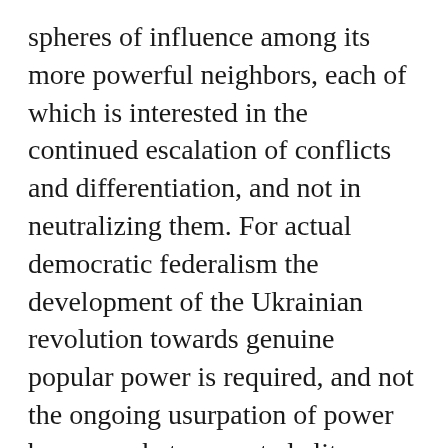spheres of influence among its more powerful neighbors, each of which is interested in the continued escalation of conflicts and differentiation, and not in neutralizing them. For actual democratic federalism the development of the Ukrainian revolution towards genuine popular power is required, and not the ongoing usurpation of power by somewhat renovated elites or nationalists.
The problem of the Crimea was not dreamt up by the Russian authorities a week ago. The tens of thousands of people who came out onto the streets of